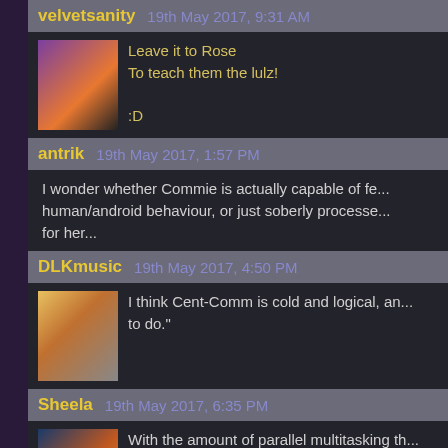velvetsanity   19th May 2017, 9:31 AM
Leave it to Rose
To teach them the lulz!

:D
antrik   19th May 2017, 1:57 PM
I wonder whether Commie is actually capable of fe... human/android behaviour, or just soberly processes... for her...
DLKmusic   19th May 2017, 4:50 PM
I think Cent-Comm is cold and logical, an... to do."
Sheela   19th May 2017, 6:35 PM
With the amount of parallel multitasking th... "annoyance" is something she even cons...

She'll just run a few more scenarios until s...
Gilrandir   20th May 2017, 7:55 AM